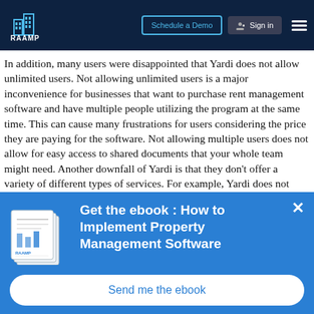RAAMP | Schedule a Demo | Sign in
In addition, many users were disappointed that Yardi does not allow unlimited users. Not allowing unlimited users is a major inconvenience for businesses that want to purchase rent management software and have multiple people utilizing the program at the same time. This can cause many frustrations for users considering the price they are paying for the software. Not allowing multiple users does not allow for easy access to shared documents that your whole team might need. Another downfall of Yardi is that they don't offer a variety of different types of services. For example, Yardi does not offer lease abstracts, dynamic rent rolls, CRM, or unlimited users.
[Figure (other): Popup banner with ebook image illustration and text: Get the ebook : How to Implement Property Management Software, with a Send me the ebook button]